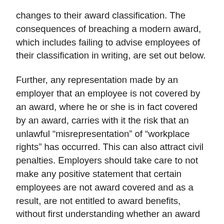changes to their award classification. The consequences of breaching a modern award, which includes failing to advise employees of their classification in writing, are set out below.
Further, any representation made by an employer that an employee is not covered by an award, where he or she is in fact covered by an award, carries with it the risk that an unlawful “misrepresentation” of “workplace rights” has occurred. This can also attract civil penalties. Employers should take care to not make any positive statement that certain employees are not award covered and as a result, are not entitled to award benefits, without first understanding whether an award may apply to the employee.
Can you pay an annual salary in lieu of award benefits?